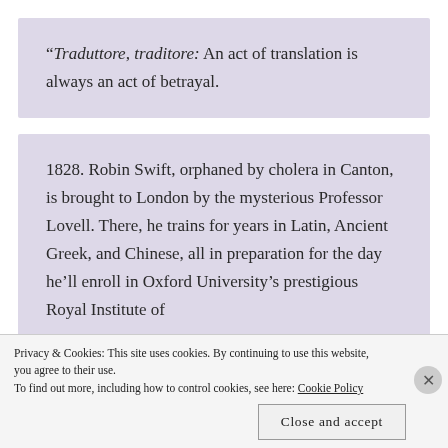“Traduttore, traditore: An act of translation is always an act of betrayal.
1828. Robin Swift, orphaned by cholera in Canton, is brought to London by the mysterious Professor Lovell. There, he trains for years in Latin, Ancient Greek, and Chinese, all in preparation for the day he’ll enroll in Oxford University’s prestigious Royal Institute of
Privacy & Cookies: This site uses cookies. By continuing to use this website, you agree to their use.
To find out more, including how to control cookies, see here: Cookie Policy
Close and accept